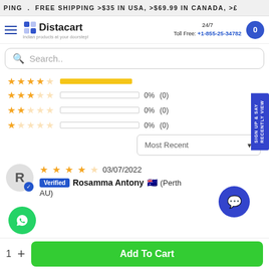PING . FREE SHIPPING >$35 IN USA, >$69.99 IN CANADA, >£
[Figure (logo): Distacart logo with hamburger menu, 24/7 toll free number +1-855-25-34782, and cart button]
Search..
[Figure (infographic): Star rating rows: 3-star row with 0% (0), 2-star row with 0% (0), 1-star row with 0% (0). Also a partially filled top bar visible.]
Most Recent ▼
★★★★☆ 03/07/2022 Verified Rosamma Antony 🇦🇺 (Perth AU)
Add To Cart